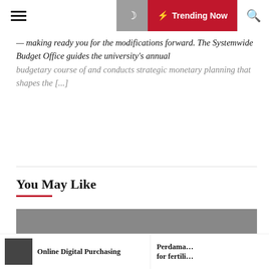Trending Now
— making ready you for the modifications forward. The Systemwide Budget Office guides the university's annual budgetary course of and conducts strategic monetary planning that shapes the [...]
You May Like
[Figure (photo): Gray placeholder image for article]
Online Digital Purchasing
Perdama... for fertili...